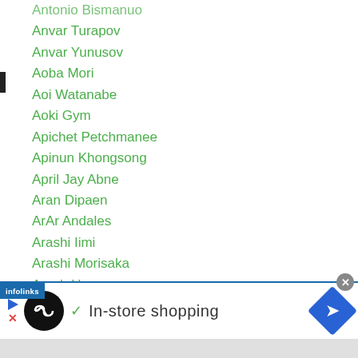Antonio Bismantuo
Anvar Turapov
Anvar Yunusov
Aoba Mori
Aoi Watanabe
Aoki Gym
Apichet Petchmanee
Apinun Khongsong
April Jay Abne
Aran Dipaen
ArAr Andales
Arashi Iimi
Arashi Morisaka
Arash Usmanee
Arata Matsuoka
Archive
...iale
[Figure (screenshot): Infolinks advertisement bar showing 'In-store shopping' with logo and navigation arrow]